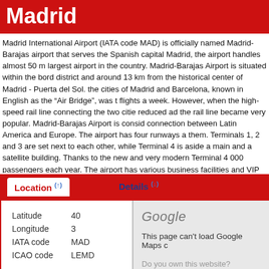Madrid
Madrid International Airport (IATA code MAD) is officially named Madrid-Barajas airport that serves the Spanish capital Madrid, the airport handles almost 50 m largest airport in the country. Madrid-Barajas Airport is situated within the bord district and around 13 km from the historical center of Madrid - Puerta del Sol. the cities of Madrid and Barcelona, known in English as the “Air Bridge”, was t flights a week. However, when the high-speed rail line connecting the two citie reduced ad the rail line became very popular. Madrid-Barajas Airport is consid connection between Latin America and Europe. The airport has four runways a them. Terminals 1, 2 and 3 are set next to each other, while Terminal 4 is aside a main and a satellite building. Thanks to the new and very modern Terminal 4 000 passengers each year. The airport has various business facilities and VIP Further, there are two banks, ATM machines, more than 30 restaurants, bars a car rental companies, plus nurseries, a children playground and pharmacies. T lines and taxi companies.
Location
Details
| Latitude | 40 |
| Longitude | 3 |
| IATA code | MAD |
| ICAO code | LEMD |
[Figure (screenshot): Google Maps error panel showing 'This page can’t load Google Maps c' and 'Do you own this website?']